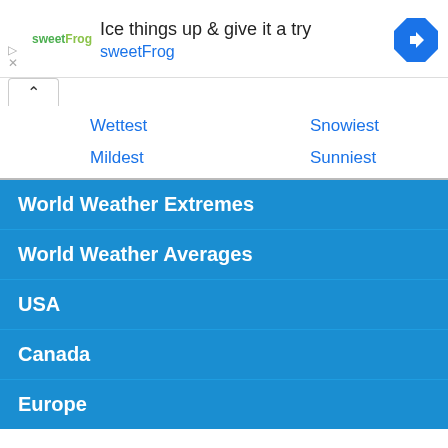[Figure (screenshot): sweetFrog advertisement banner with logo, headline text 'Ice things up & give it a try', subline 'sweetFrog', and a blue navigation arrow icon]
Wettest
Snowiest
Mildest
Sunniest
World Weather Extremes
World Weather Averages
USA
Canada
Europe
↑  Back to Top
ENHANCED BY Google